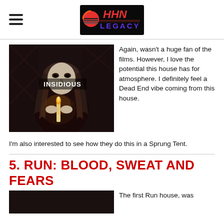HHN LEGACY
[Figure (photo): Insidious horror character holding a candle, with INSIDIOUS text overlay]
Again, wasn't a huge fan of the films. However, I love the potential this house has for atmosphere. I definitely feel a Dead End vibe coming from this house. I'm also interested to see how they do this in a Sprung Tent.
5. RUN: BLOOD, SWEAT AND FEARS
[Figure (photo): Bottom partial image for Run: Blood, Sweat and Fears section]
The first Run house, was